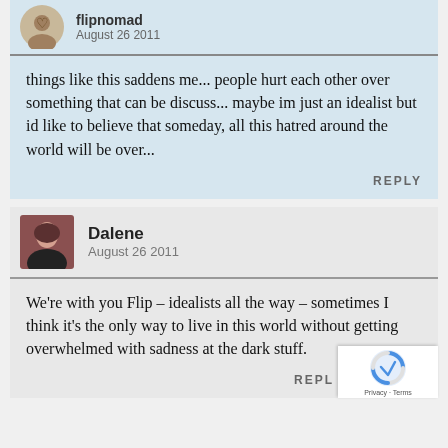flipnomad
August 26 2011
things like this saddens me... people hurt each other over something that can be discuss... maybe im just an idealist but id like to believe that someday, all this hatred around the world will be over...
REPLY
Dalene
August 26 2011
We're with you Flip – idealists all the way – sometimes I think it's the only way to live in this world without getting overwhelmed with sadness at the dark stuff.
REPLY